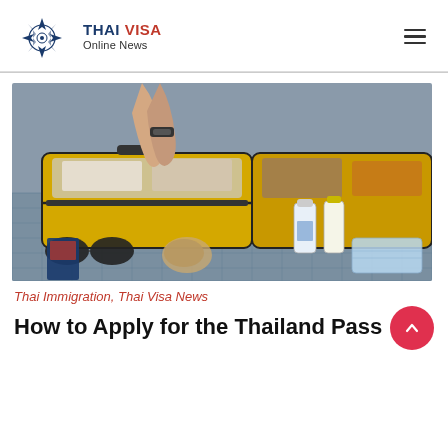THAI VISA Online News
[Figure (photo): Person packing a yellow suitcase on a bed with travel items including sanitizer bottles, a face mask, sunglasses, and a passport visible]
Thai Immigration, Thai Visa News
How to Apply for the Thailand Pass